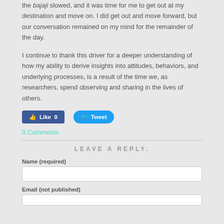the bajaji slowed, and it was time for me to get out at my destination and move on. I did get out and move forward, but our conversation remained on my mind for the remainder of the day.
I continue to thank this driver for a deeper understanding of how my ability to derive insights into attitudes, behaviors, and underlying processes, is a result of the time we, as researchers, spend observing and sharing in the lives of others.
[Figure (screenshot): Social media buttons: a Facebook Like button showing 0 likes, and a Twitter Tweet button]
0 Comments
LEAVE A REPLY.
Name (required)
Email (not published)